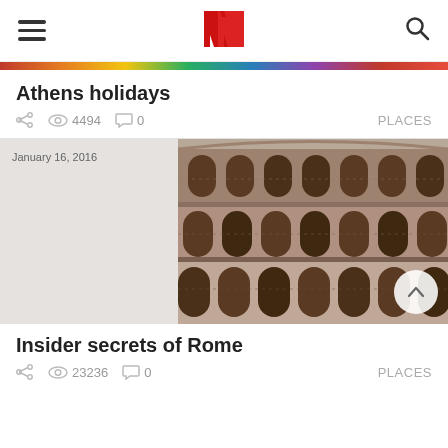Navigation header with hamburger menu, N logo, and search icon
[Figure (screenshot): Colorful horizontal strip of travel destination thumbnails]
Athens holidays
Share icon  4494 views  0 comments    PLACES
[Figure (photo): Photo of the Roman Colosseum, tan/brown stone arches, dated January 16, 2016]
Insider secrets of Rome
Share icon  23236 views  0 comments    PLACES